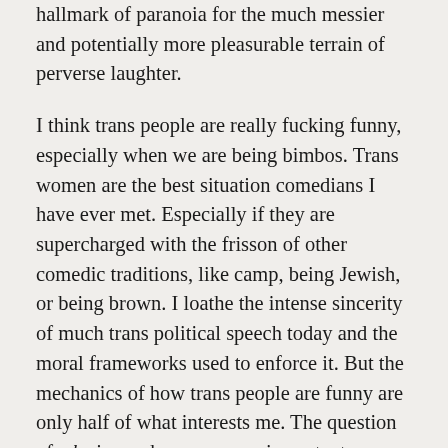hallmark of paranoia for the much messier and potentially more pleasurable terrain of perverse laughter.
I think trans people are really fucking funny, especially when we are being bimbos. Trans women are the best situation comedians I have ever met. Especially if they are supercharged with the frisson of other comedic traditions, like camp, being Jewish, or being brown. I loathe the intense sincerity of much trans political speech today and the moral frameworks used to enforce it. But the mechanics of how trans people are funny are only half of what interests me. The question of why is maybe even more important.
Consider Cecilia Gentili here as a true genius. You probably know her best for being a trans woman of color activist based in New York City, doing incredibly